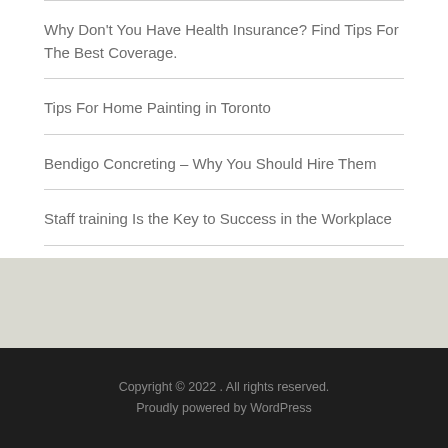Why Don't You Have Health Insurance? Find Tips For The Best Coverage.
Tips For Home Painting in Toronto
Bendigo Concreting – Why You Should Hire Them
Staff training Is the Key to Success in the Workplace
Copyright © 2022 . All rights reserved.
Proudly powered by WordPress